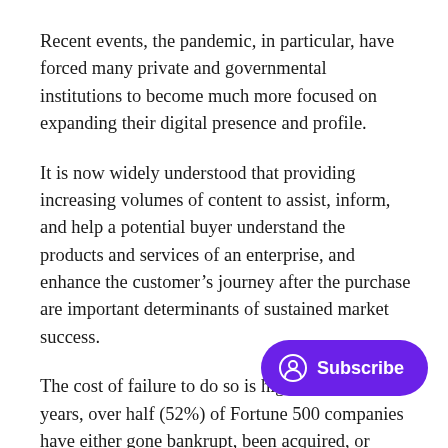Recent events, the pandemic, in particular, have forced many private and governmental institutions to become much more focused on expanding their digital presence and profile.
It is now widely understood that providing increasing volumes of content to assist, inform, and help a potential buyer understand the products and services of an enterprise, and enhance the customer's journey after the purchase are important determinants of sustained market success.
The cost of failure to do so is high. In the last 20 years, over half (52%) of Fortune 500 companies have either gone bankrupt, been acquired, or ceased to exist as a result of the digital and business model disruption. many more companies across various [industries] disappear because they fail to understand the strategic